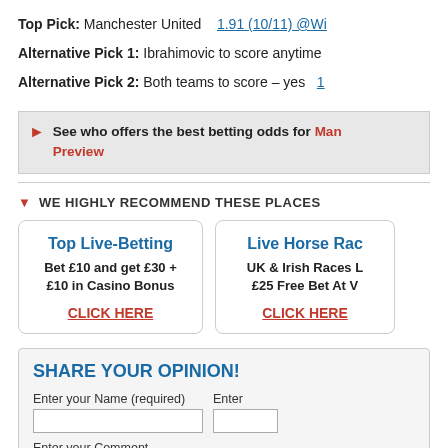Top Pick: Manchester United   1.91 (10/11) @Wi...
Alternative Pick 1: Ibrahimovic to score anytime
Alternative Pick 2: Both teams to score – yes  1...
See who offers the best betting odds for Manc... Preview
WE HIGHLY RECOMMEND THESE PLACES
Top Live-Betting
Bet £10 and get £30 + £10 in Casino Bonus
CLICK HERE
Live Horse Rac...
UK & Irish Races L... £25 Free Bet At V...
CLICK HERE
SHARE YOUR OPINION!
Enter your Name (required)
Enter your Comment